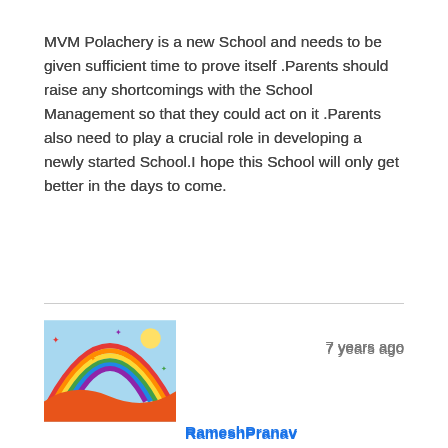MVM Polachery is a new School and needs to be given sufficient time to prove itself .Parents should raise any shortcomings with the School Management so that they could act on it .Parents also need to play a crucial role in developing a newly started School.I hope this School will only get better in the days to come.
[Figure (illustration): Colorful avatar image showing a rainbow with a blue sky background and orange/red landform below]
7 years ago
RameshPranav
Hi,
anyone please let us know when they will issue the application form for LKG admission 2015-16 batch?